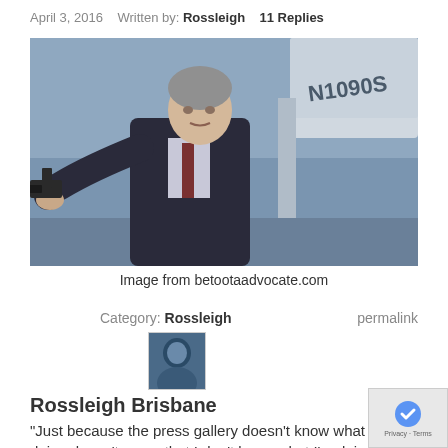April 3, 2016   Written by: Rossleigh   11 Replies
[Figure (photo): Man in suit holding a handgun pointed at camera, standing in front of an aircraft with registration N1090S visible]
Image from betootaadvocate.com
Category: Rossleigh   permalink
[Figure (photo): Small avatar/profile photo of Rossleigh Brisbane]
Rossleigh Brisbane
“Just because the press gallery doesn’t know what I’m doing doesn’t mean that I don’t know what I’m doing.”